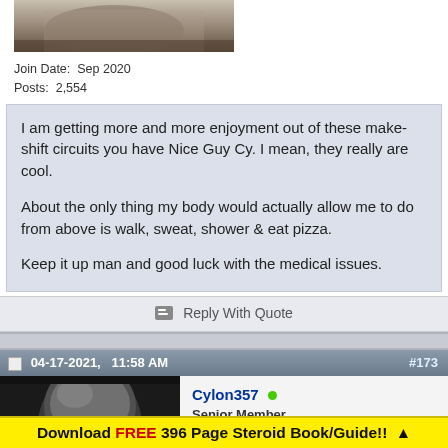[Figure (photo): Partial photo of a person showing muscular arms/body, cropped at top]
Join Date:  Sep 2020
Posts:  2,554
I am getting more and more enjoyment out of these make-shift circuits you have Nice Guy Cy. I mean, they really are cool.

About the only thing my body would actually allow me to do from above is walk, sweat, shower & eat pizza.

Keep it up man and good luck with the medical issues.
Reply With Quote
04-17-2021,   11:58 AM
#173
[Figure (photo): Avatar image of a dark robotic/Cylon helmet (Battlestar Galactica style)]
Cylon357
Senior Member
Download FREE 396 Page Steroid Book/Guide!! ▲